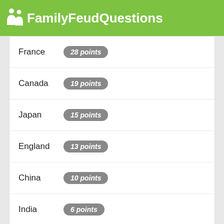FamilyFeudQuestions
France  28 points
Canada  19 points
Japan  15 points
England  13 points
China  10 points
India  6 points
7 answers
Name A Dessert You Might Not Serve At A Fancy Dinner Party.
Ice Cream  44 points
Jell O  23 points